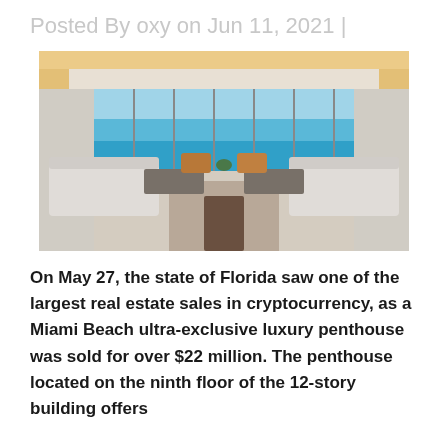Posted By oxy on Jun 11, 2021 |
[Figure (photo): Interior of a luxury penthouse with floor-to-ceiling windows overlooking the ocean, white sofas, and warm ceiling lighting.]
On May 27, the state of Florida saw one of the largest real estate sales in cryptocurrency, as a Miami Beach ultra-exclusive luxury penthouse was sold for over $22 million. The penthouse located on the ninth floor of the 12-story building offers